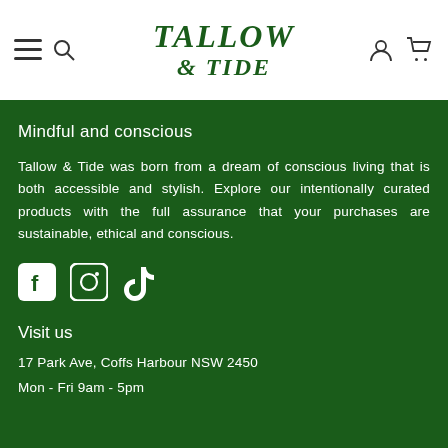Tallow & Tide
Mindful and conscious
Tallow & Tide was born from a dream of conscious living that is both accessible and stylish. Explore our intentionally curated products with the full assurance that your purchases are sustainable, ethical and conscious.
[Figure (illustration): Social media icons: Facebook, Instagram, TikTok]
Visit us
17 Park Ave, Coffs Harbour NSW 2450
Mon - Fri 9am - 5pm